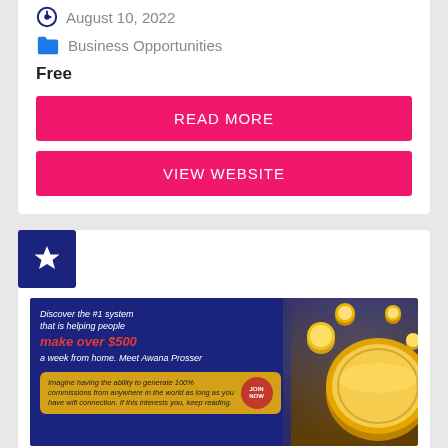August 10, 2022
Business Opportunities
Free
READ MORE
VIEW WEBSITE
[Figure (illustration): Blue square badge with white star icon]
[Figure (photo): Advertisement banner: Discover the #1 system that is helping people make over $500 a week from home. Meet Awana Prosser. Join Now button. Gold coins imagery on dark blue background.]